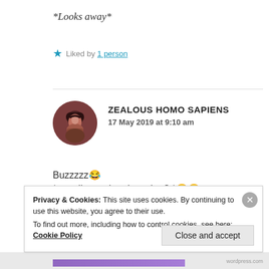*Looks away*
★ Liked by 1 person
ZEALOUS HOMO SAPIENS
17 May 2019 at 9:10 am
Buzzzzz😂
* got disappointed or what? *😂😂
Privacy & Cookies: This site uses cookies. By continuing to use this website, you agree to their use.
To find out more, including how to control cookies, see here: Cookie Policy
Close and accept